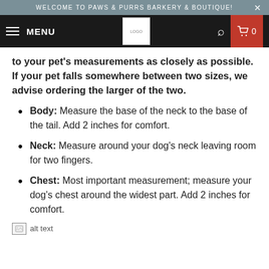WELCOME TO PAWS & PURRS BARKERY & BOUTIQUE!
to your pet's measurements as closely as possible. If your pet falls somewhere between two sizes, we advise ordering the larger of the two.
Body: Measure the base of the neck to the base of the tail. Add 2 inches for comfort.
Neck: Measure around your dog's neck leaving room for two fingers.
Chest: Most important measurement; measure your dog's chest around the widest part. Add 2 inches for comfort.
[Figure (photo): alt text placeholder image]